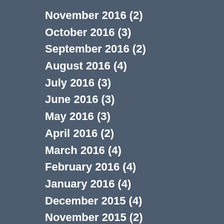November 2016 (2)
October 2016 (3)
September 2016 (2)
August 2016 (4)
July 2016 (3)
June 2016 (3)
May 2016 (3)
April 2016 (2)
March 2016 (4)
February 2016 (4)
January 2016 (4)
December 2015 (4)
November 2015 (2)
October 2015 (4)
September 2015 (5)
August 2015 (3)
July 2015 (5)
June 2015 (4)
May 2015 (4)